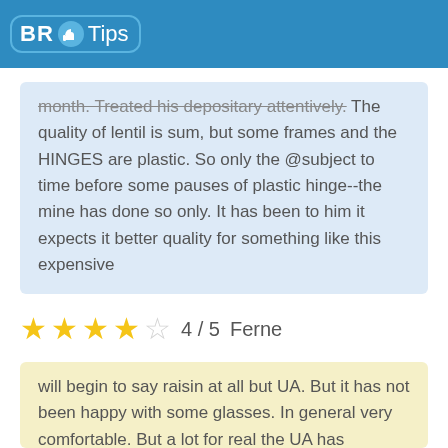BR Tips
month. Treated his depositary attentively. The quality of lentil is sum, but some frames and the HINGES are plastic. So only the @subject to time before some pauses of plastic hinge--the mine has done so only. It has been to him it expects it better quality for something like this expensive
★★★★☆ 4 / 5  Ferne
will begin to say raisin at all but UA. But it has not been happy with some glasses. In general very comfortable. But a lot for real the UA has produced. It has taken some clear frames with to